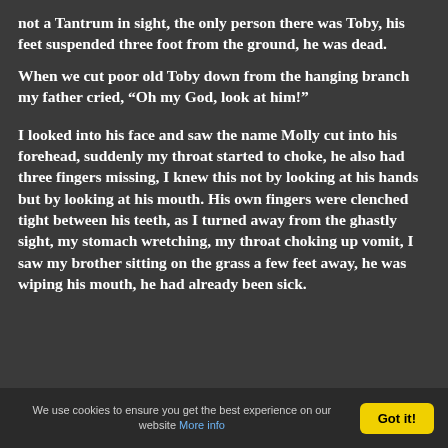not a Tantrum in sight, the only person there was Toby, his feet suspended three foot from the ground, he was dead.
When we cut poor old Toby down from the hanging branch my father cried, “Oh my God, look at him!”
I looked into his face and saw the name Molly cut into his forehead, suddenly my throat started to choke, he also had three fingers missing, I knew this not by looking at his hands but by looking at his mouth. His own fingers were clenched tight between his teeth, as I turned away from the ghastly sight, my stomach wretching, my throat choking up vomit, I saw my brother sitting on the grass a few feet away, he was wiping his mouth, he had already been sick.
We use cookies to ensure you get the best experience on our website More info  Got it!